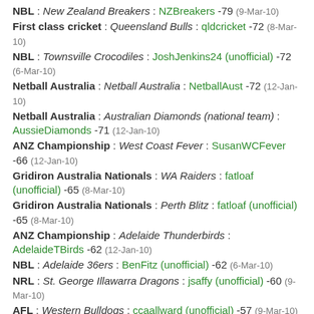NBL : New Zealand Breakers : NZBreakers -79 (9-Mar-10)
First class cricket : Queensland Bulls : qldcricket -72 (8-Mar-10)
NBL : Townsville Crocodiles : JoshJenkins24 (unofficial) -72 (6-Mar-10)
Netball Australia : Netball Australia : NetballAust -72 (12-Jan-10)
Netball Australia : Australian Diamonds (national team) : AussieDiamonds -71 (12-Jan-10)
ANZ Championship : West Coast Fever : SusanWCFever -66 (12-Jan-10)
Gridiron Australia Nationals : WA Raiders : fatloaf (unofficial) -65 (8-Mar-10)
Gridiron Australia Nationals : Perth Blitz : fatloaf (unofficial) -65 (8-Mar-10)
ANZ Championship : Adelaide Thunderbirds : AdelaideTBirds -62 (12-Jan-10)
NBL : Adelaide 36ers : BenFitz (unofficial) -62 (6-Mar-10)
NRL : St. George Illawarra Dragons : jsaffy (unofficial) -60 (9-Mar-10)
AFL : Western Bulldogs : ccaallward (unofficial) -57 (9-Mar-10)